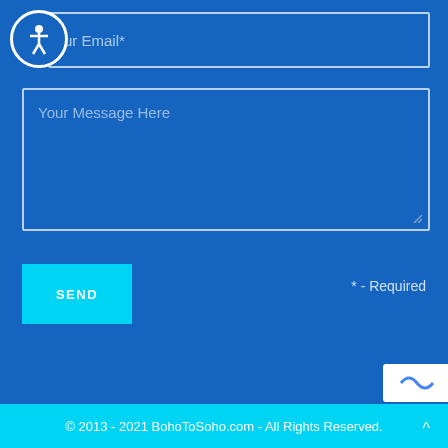[Figure (illustration): Accessibility icon: a circle with a human figure silhouette inside, representing accessibility controls]
ur Email*
Your Message Here
SEND
* - Required
[Figure (logo): Partial reCAPTCHA badge visible at bottom right]
© 2013 - 2021 BohoToSoho.com - All Rights Reserved.